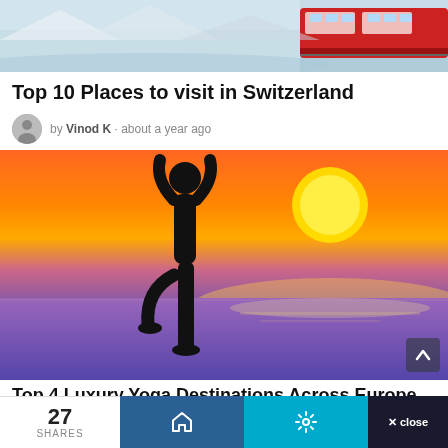[Figure (photo): Top portion of an article image showing a red train/tram and snowy/icy scenery in Switzerland]
Top 10 Places to visit in Switzerland
by Vinod K · about a year ago
[Figure (photo): Silhouette of a person doing a yoga tree pose against a vibrant orange and purple sunset over the ocean]
Top 4 Luxury Yoga Destinations Across Europe
27 SHARES | Home icon | Settings icon | × close